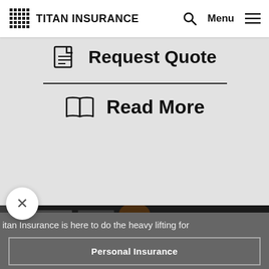TITAN INSURANCE | Search | Menu
[Figure (screenshot): Request Quote icon with document/form icon next to text]
Request Quote
[Figure (screenshot): Read More icon with open book icon next to text]
Read More
[Figure (photo): Photo of person with hair in bun, dark background with text/signs visible]
itan Insurance is here to do the heavy lifting for
Personal Insurance
Business Insurance